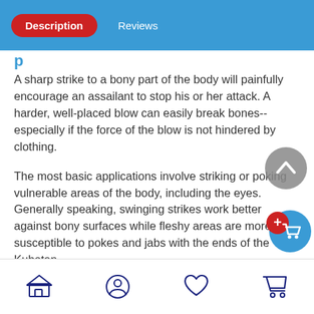Description | Reviews
A sharp strike to a bony part of the body will painfully encourage an assailant to stop his or her attack. A harder, well-placed blow can easily break bones--especially if the force of the blow is not hindered by clothing.
The most basic applications involve striking or poking vulnerable areas of the body, including the eyes. Generally speaking, swinging strikes work better against bony surfaces while fleshy areas are more susceptible to pokes and jabs with the ends of the Kubotan.
There is no wrong strike! Just hit as hard as you can the closest body part.
[Figure (other): Scroll-up button (gray circle with chevron up icon)]
[Figure (other): Add to cart button (blue circle with shopping cart icon and red plus badge)]
Bottom navigation bar with store, profile, heart/wishlist, and cart icons